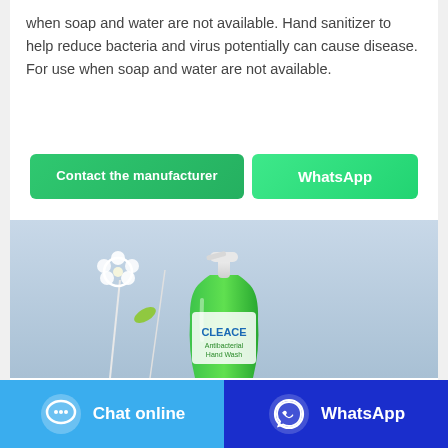when soap and water are not available. Hand sanitizer to help reduce bacteria and virus potentially can cause disease. For use when soap and water are not available.
[Figure (other): Two green call-to-action buttons: 'Contact the manufacturer' and 'WhatsApp']
[Figure (photo): Photo of a green hand soap/sanitizer bottle (CLEACE brand) with pump dispenser, set against a light blue background with white flowers]
[Figure (other): Bottom navigation bar with 'Chat online' button (blue) and 'WhatsApp' button (dark blue), each with icons]